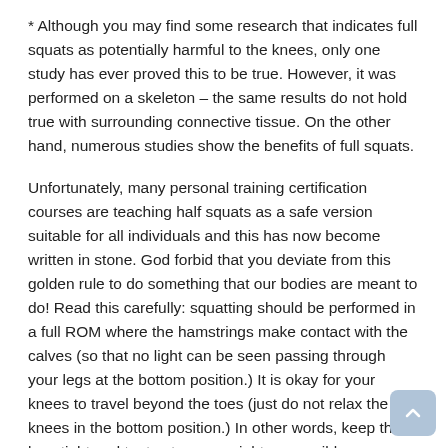* Although you may find some research that indicates full squats as potentially harmful to the knees, only one study has ever proved this to be true. However, it was performed on a skeleton – the same results do not hold true with surrounding connective tissue. On the other hand, numerous studies show the benefits of full squats.
Unfortunately, many personal training certification courses are teaching half squats as a safe version suitable for all individuals and this has now become written in stone. God forbid that you deviate from this golden rule to do something that our bodies are meant to do! Read this carefully: squatting should be performed in a full ROM where the hamstrings make contact with the calves (so that no light can be seen passing through your legs at the bottom position.) It is okay for your knees to travel beyond the toes (just do not relax the knees in the bottom position.) In other words, keep the legs tight and try to stay as upright as possible throughout the exercise. So, next